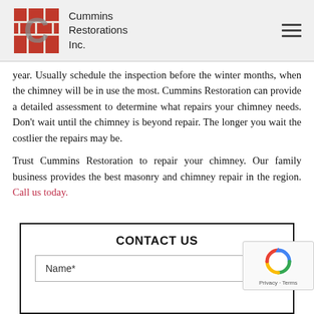Cummins Restorations Inc.
year. Usually schedule the inspection before the winter months, when the chimney will be in use the most. Cummins Restoration can provide a detailed assessment to determine what repairs your chimney needs. Don't wait until the chimney is beyond repair. The longer you wait the costlier the repairs may be.
Trust Cummins Restoration to repair your chimney. Our family business provides the best masonry and chimney repair in the region. Call us today.
CONTACT US
Name*